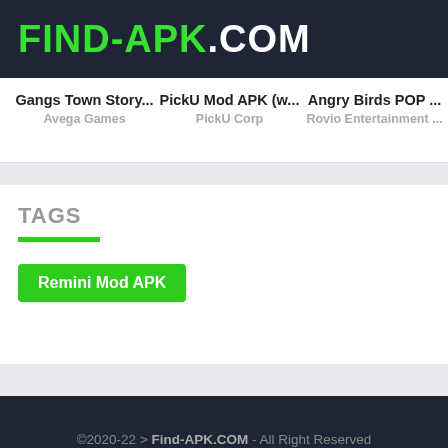FIND-APK.COM
Gangs Town Story... | Avega Games | PickU Mod APK (w... | PickU Corp | Angry Birds POP ... | Rovio Entertainment ...
TAGS
Remini Mod APK
©2020-22 > Find-APK.COM - All Right Reserved | Contact Us - DMCA - Disclaimer - Privacy Policy | FIND-APK.COM